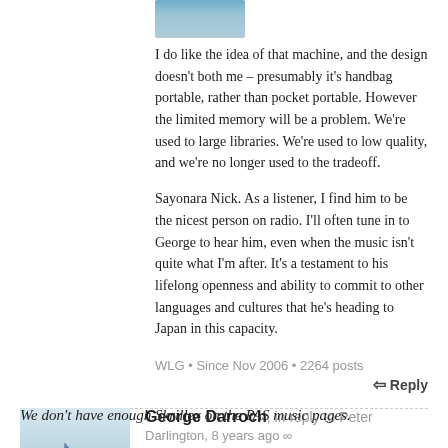[Figure (photo): Partial avatar image at top, showing cropped landscape/sky photo]
I do like the idea of that machine, and the design doesn't both me – presumably it's handbag portable, rather than pocket portable. However the limited memory will be a problem. We're used to large libraries. We're used to low quality, and we're no longer used to the tradeoff.

Sayonara Nick. As a listener, I find him to be the nicest person on radio. I'll often tune in to George to hear him, even when the music isn't quite what I'm after. It's a testament to his lifelong openness and ability to commit to other languages and cultures that he's heading to Japan in this capacity.
WLG • Since Nov 2006 • 2264 posts
↵ Reply
[Figure (photo): Avatar image showing a small sailboat on water with a blue sail]
George Darroch, in reply to Peter Darlington, 8 years ago ∞
We don't have enough Skrillex on the PAS music pages.